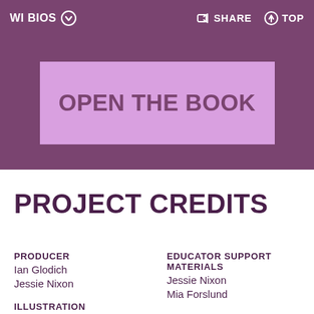WI BIOS  SHARE  TOP
[Figure (other): Purple banner with lavender button labeled OPEN THE BOOK]
PROJECT CREDITS
PRODUCER
Ian Glodich
Jessie Nixon
EDUCATOR SUPPORT MATERIALS
Jessie Nixon
Mia Forslund
ILLUSTRATION